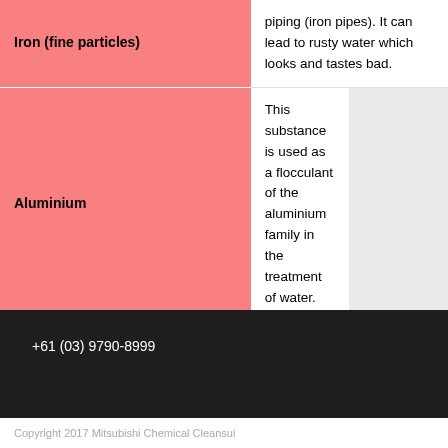|  |  |  |
| --- | --- | --- |
| Iron (fine particles) | piping (iron pipes). It can lead to rusty water which looks and tastes bad. |  |
| Aluminium | This substance is used as a flocculant of the aluminium family in the treatment of water. |  |
+61 (03) 9790-8999
Copyright 2017 Mitsubishi Chemical Cleansui